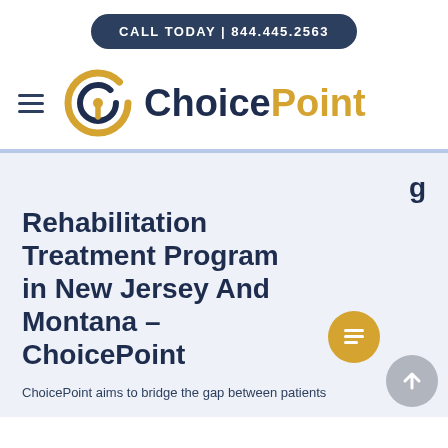CALL TODAY | 844.445.2563
[Figure (logo): ChoicePoint logo with circular gold/navy icon and text 'ChoicePoint' in navy and gold]
Rehabilitation Treatment Program in New Jersey And Montana – ChoicePoint
ChoicePoint aims to bridge the gap between patients